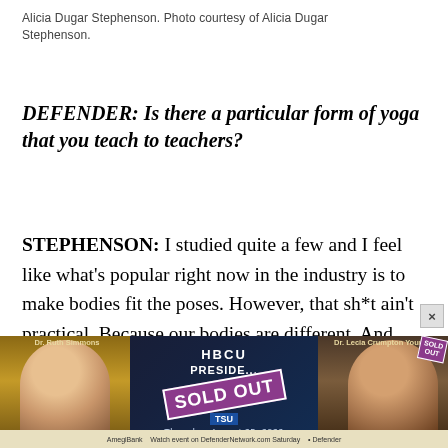Alicia Dugar Stephenson. Photo courtesy of Alicia Dugar Stephenson.
DEFENDER: Is there a particular form of yoga that you teach to teachers?
STEPHENSON: I studied quite a few and I feel like what’s popular right now in the industry is to make bodies fit the poses. However, that sh*t ain’t practical. Because our bodies are different. And even for myself, sometimes I feel like a lot of energy and I’m like, “Yes, I want to do all the
[Figure (photo): Advertisement banner for HBCU Presidents event with 'SOLD OUT' stamp, featuring photos of Dr. Ruth Simmons and Dr. Lecia Crumpton Young, dated Thursday August 25, 2022, with AmegiBank and Defender branding.]